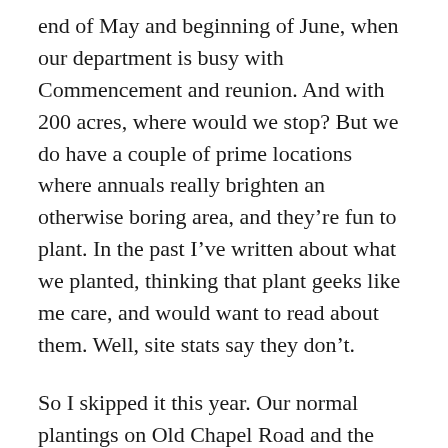end of May and beginning of June, when our department is busy with Commencement and reunion. And with 200 acres, where would we stop? But we do have a couple of prime locations where annuals really brighten an otherwise boring area, and they're fun to plant. In the past I've written about what we planted, thinking that plant geeks like me care, and would want to read about them. Well, site stats say they don't.
So I skipped it this year. Our normal plantings on Old Chapel Road and the front of Johnson were as popular as always, based on comments from people walking past, but I never posted about what they were. Unlike my own garden, where I sure as hell wished I'd kept track of all the names of the daylilies I've planted, I do keep careful track of what we plant at Camp Midd, and naturally I watch carefully. So this year I thought I'd actually review what we planted